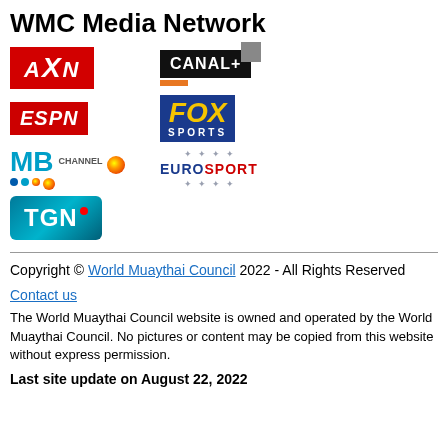WMC Media Network
[Figure (logo): AXN logo - red background with white italic bold AXN text]
[Figure (logo): Canal+ logo - black box with white CANAL+ text and grey square, orange bar beneath]
[Figure (logo): ESPN logo - red background with white italic bold ESPN text]
[Figure (logo): Fox Sports logo - blue background with yellow FOX and white SPORTS text]
[Figure (logo): MB Channel logo - cyan MB letters with CHANNEL text and colorful globe and dots]
[Figure (logo): Eurosport logo - blue/red EUROSPORT text with stars around]
[Figure (logo): TGN logo - teal rounded rectangle with white TGN text and red dot]
Copyright © World Muaythai Council 2022 - All Rights Reserved
Contact us
The World Muaythai Council website is owned and operated by the World Muaythai Council. No pictures or content may be copied from this website without express permission.
Last site update on August 22, 2022